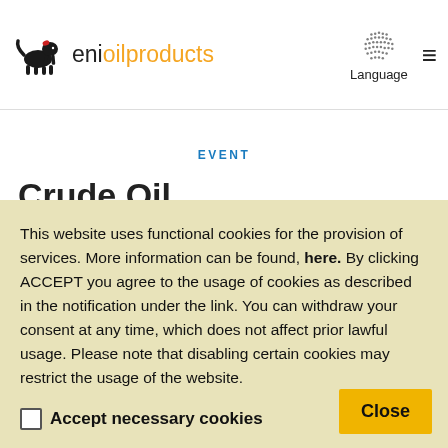eni oil products — Language — menu
EVENT
This website uses functional cookies for the provision of services. More information can be found, here. By clicking ACCEPT you agree to the usage of cookies as described in the notification under the link. You can withdraw your consent at any time, which does not affect prior lawful usage. Please note that disabling certain cookies may restrict the usage of the website.
Accept necessary cookies
Close